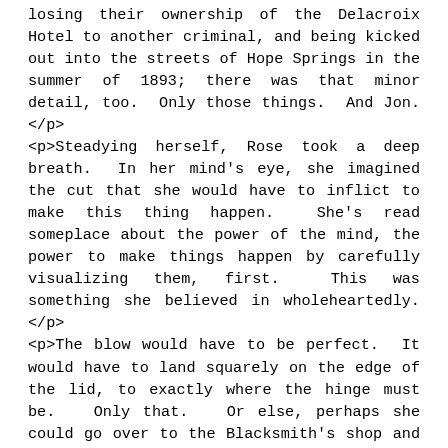losing their ownership of the Delacroix Hotel to another criminal, and being kicked out into the streets of Hope Springs in the summer of 1893; there was that minor detail, too.  Only those things.  And Jon.</p> <p>Steadying herself, Rose took a deep breath.  In her mind's eye, she imagined the cut that she would have to inflict to make this thing happen.  She's read someplace about the power of the mind, the power to make things happen by carefully visualizing them, first.  This was something she believed in wholeheartedly. </p> <p>The blow would have to be perfect.  It would have to land squarely on the edge of the lid, to exactly where the hinge must be.  Only that.  Or else, perhaps she could go over to the Blacksmith's shop and see if he couldn't pop the thing open for her somehow.  But there would be a lot of questions asked, then.  And a lot of precious time wasted.  She thought again of Jon, headed over to the Bromwell Hotel, across the street.</p> <p>With a cry, Rose ran wholeheartedly up towards the box, to where it sat there on the tree stump.  She brought the axe down with all her might, producing a bone-jarring ringing in her hands clear up to the shoulder, an ear-cracking SMACK when the unstoppable force of her axe came down on the immovable